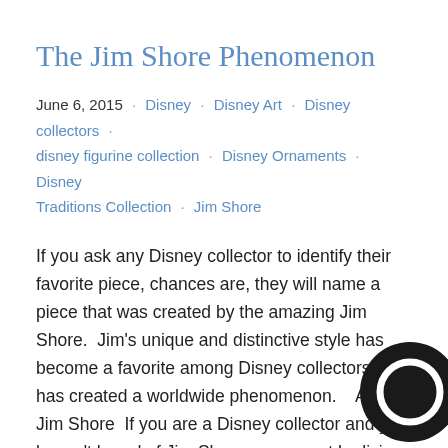The Jim Shore Phenomenon
June 6, 2015 · Disney · Disney Art · Disney collectors · disney figurine collection · Disney Ornaments · Disney Traditions Collection · Jim Shore
If you ask any Disney collector to identify their favorite piece, chances are, they will name a piece that was created by the amazing Jim Shore.  Jim's unique and distinctive style has become a favorite among Disney collectors and has created a worldwide phenomenon.    About Jim Shore  If you are a Disney collector and you haven't heard of Jim Shore…you must be living under a rock. However, not everyone knows how this amazing artist came to produce some of the best figurines in the industry. Jim was raised on a rural property in South Carolina, USA by two...